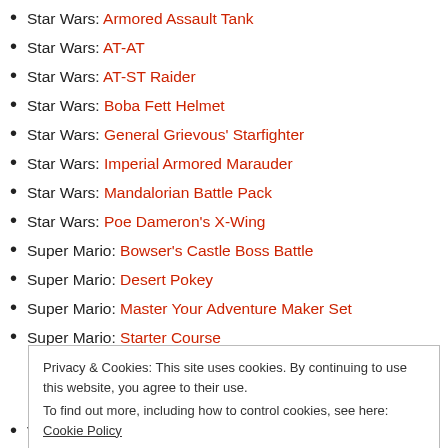Star Wars: Armored Assault Tank
Star Wars: AT-AT
Star Wars: AT-ST Raider
Star Wars: Boba Fett Helmet
Star Wars: General Grievous' Starfighter
Star Wars: Imperial Armored Marauder
Star Wars: Mandalorian Battle Pack
Star Wars: Poe Dameron's X-Wing
Super Mario: Bowser's Castle Boss Battle
Super Mario: Desert Pokey
Super Mario: Master Your Adventure Maker Set
Super Mario: Starter Course
Privacy & Cookies: This site uses cookies. By continuing to use this website, you agree to their use. To find out more, including how to control cookies, see here: Cookie Policy
Vidiyo: Punk Pirate Beat Box